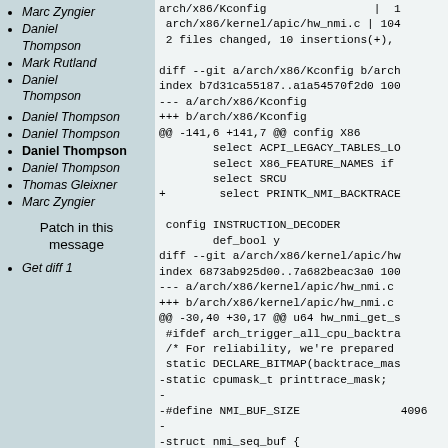Marc Zyngier
Daniel Thompson
Mark Rutland
Daniel Thompson
Daniel Thompson
Daniel Thompson
Daniel Thompson
Thomas Gleixner
Marc Zyngier
Patch in this message
Get diff 1
arch/x86/Kconfig                |  1
 arch/x86/kernel/apic/hw_nmi.c | 104
 2 files changed, 10 insertions(+),

diff --git a/arch/x86/Kconfig b/arch
index b7d31ca55187..a1a54570f2d0 100
--- a/arch/x86/Kconfig
+++ b/arch/x86/Kconfig
@@ -141,6 +141,7 @@ config X86
         select ACPI_LEGACY_TABLES_LO
         select X86_FEATURE_NAMES if
         select SRCU
+        select PRINTK_NMI_BACKTRACE

 config INSTRUCTION_DECODER
         def_bool y
diff --git a/arch/x86/kernel/apic/hw
index 6873ab925d00..7a682beac3a0 100
--- a/arch/x86/kernel/apic/hw_nmi.c
+++ b/arch/x86/kernel/apic/hw_nmi.c
@@ -30,40 +30,17 @@ u64 hw_nmi_get_s
 #ifdef arch_trigger_all_cpu_backtra
 /* For reliability, we're prepared
 static DECLARE_BITMAP(backtrace_mas
-static cpumask_t printtrace_mask;
-
-#define NMI_BUF_SIZE               4096
-
-struct nmi_seq_buf {
-       unsigned char              buff